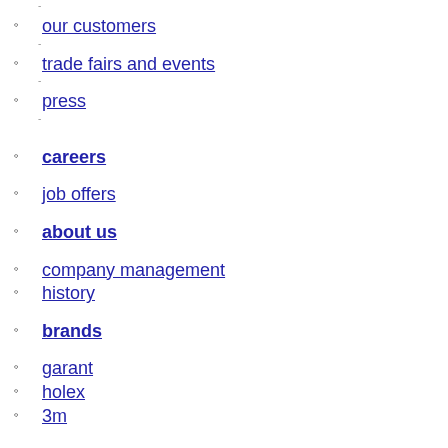our customers
trade fairs and events
press
careers
job offers
about us
company management
history
brands
garant
holex
3m